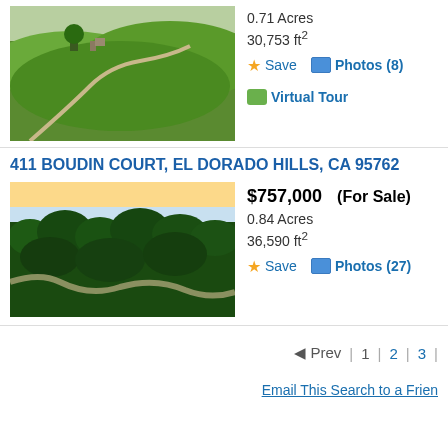[Figure (photo): Aerial photo of green rolling hills with winding path and buildings]
0.71 Acres
30,753 ft²
Save  Photos (8)  Virtual Tour
411 BOUDIN COURT, EL DORADO HILLS, CA 95762
[Figure (photo): Aerial photo of dense forested area with winding river/road]
$757,000  (For Sale)
0.84 Acres
36,590 ft²
Save  Photos (27)
◄ Prev  |  1  |  2  |  3  |
Email This Search to a Frien
MLS disclaime